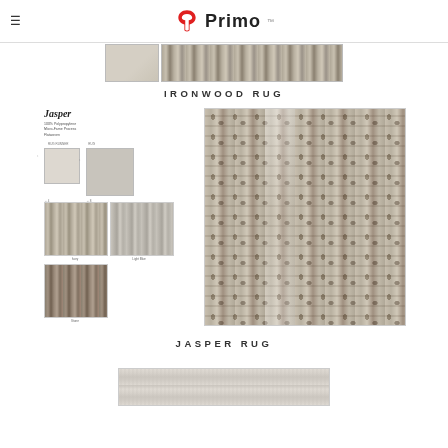Primo
[Figure (photo): Ironwood rug product sheet images showing texture swatches and a close-up of the rug pattern]
IRONWOOD RUG
[Figure (photo): Jasper rug product sheet with product name, description, size swatches, color samples, and a large close-up of the rug texture]
JASPER RUG
[Figure (photo): Bottom edge of another rug product preview]